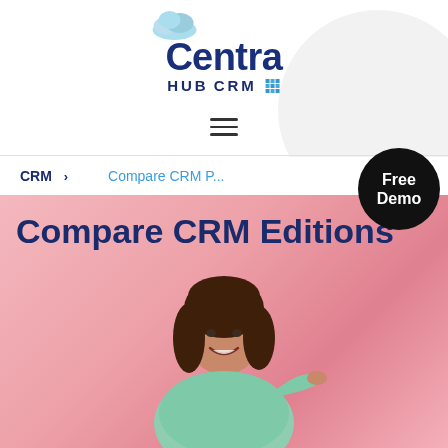[Figure (logo): CentraHub CRM logo with cloud graphic above the C, text reads 'Centra HUB CRM' with a grid icon]
[Figure (other): Hamburger menu icon (three horizontal lines)]
CRM >    Compare CRM P...
[Figure (other): Black circle button with white text 'Free Demo']
Compare CRM Editions
[Figure (photo): Smiling young woman in a mint/light green t-shirt against a pink background, pointing to the right with her left hand]